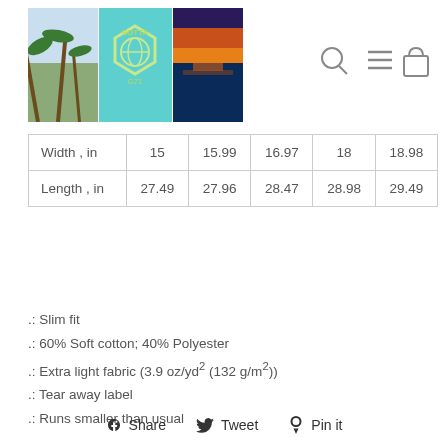[Figure (logo): Sotta G71 brand logo with beach/tropical theme, three-panel image with palm trees, hexagon logo, and sunset over water]
|  |  |  |  |  |  |
| --- | --- | --- | --- | --- | --- |
| Width , in | 15 | 15.99 | 16.97 | 18 | 18.98 |
| Length , in | 27.49 | 27.96 | 28.47 | 28.98 | 29.49 |
.: Slim fit
.: 60% Soft cotton; 40% Polyester
.: Extra light fabric (3.9 oz/yd² (132 g/m²))
.: Tear away label
.: Runs smaller than usual
Share   Tweet   Pin it